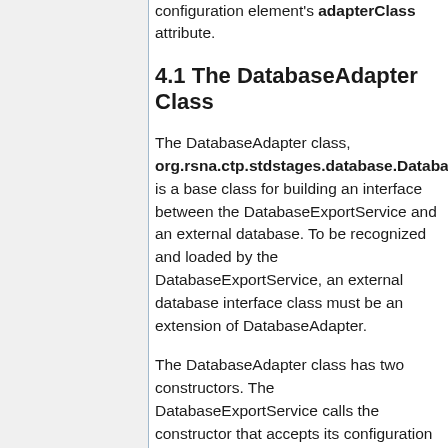configuration element's adapterClass attribute.
4.1 The DatabaseAdapter Class
The DatabaseAdapter class, org.rsna.ctp.stdstages.database.DatabaseAdapter, is a base class for building an interface between the DatabaseExportService and an external database. To be recognized and loaded by the DatabaseExportService, an external database interface class must be an extension of DatabaseAdapter.
The DatabaseAdapter class has two constructors. The DatabaseExportService calls the constructor that accepts its configuration file element as an argument, making it possible to pass information from the configuration to the DatabaseAdapter.